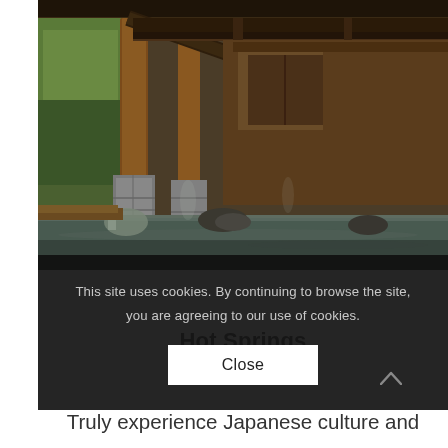[Figure (photo): Outdoor Japanese hot spring (onsen) with wooden pavilion structure, wooden pillars, stone-edged pool with steaming grey-green water, autumn trees with yellow-green foliage visible outside, warm-toned wood interior.]
This site uses cookies. By continuing to browse the site, you are agreeing to our use of cookies.
Close
Hot Springs
Truly experience Japanese culture and